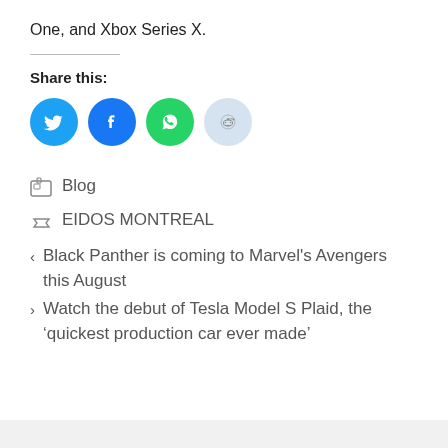One, and Xbox Series X.
Share this:
[Figure (other): Social share buttons: Twitter (blue), Facebook (blue), WhatsApp (green), Reddit (light blue)]
Blog
EIDOS MONTREAL
< Black Panther is coming to Marvel's Avengers this August
> Watch the debut of Tesla Model S Plaid, the ‘quickest production car ever made’